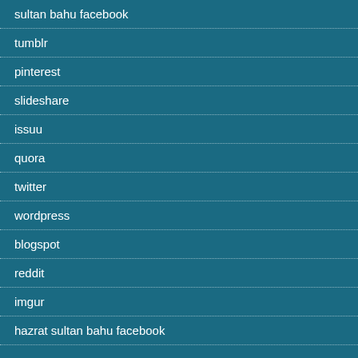sultan bahu facebook
tumblr
pinterest
slideshare
issuu
quora
twitter
wordpress
blogspot
reddit
imgur
hazrat sultan bahu facebook